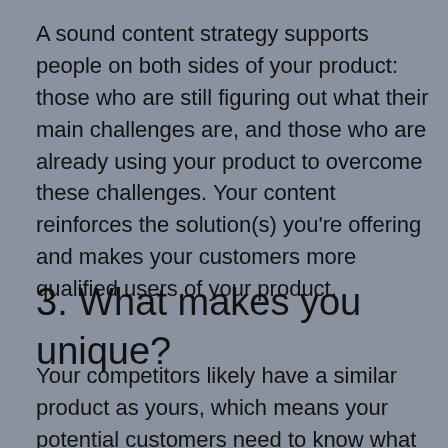A sound content strategy supports people on both sides of your product: those who are still figuring out what their main challenges are, and those who are already using your product to overcome these challenges. Your content reinforces the solution(s) you're offering and makes your customers more qualified users of your product.
3. What makes you unique?
Your competitors likely have a similar product as yours, which means your potential customers need to know what makes yours